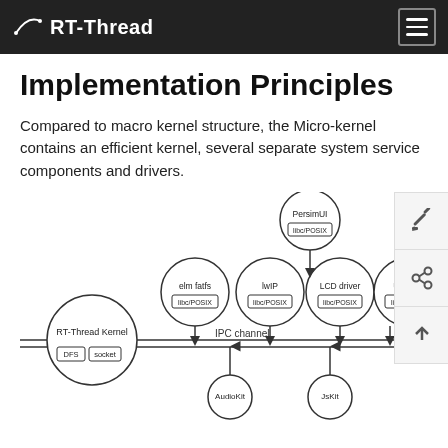RT-Thread
Implementation Principles
Compared to macro kernel structure, the Micro-kernel contains an efficient kernel, several separate system service components and drivers.
[Figure (engineering-diagram): RT-Thread Micro-kernel architecture diagram showing RT-Thread Kernel with DFS and socket components at the bottom left, connected via IPC channel to multiple service components: elm fatfs (libc/POSIX), lwIP (libc/POSIX), LCD driver (libc/POSIX), USB driver (libc/POSIX) in the middle row, PersimUI (libc/POSIX) at the top center, and AudioKit and JsKit at the bottom center. All components connected by arrows through the IPC channel.]